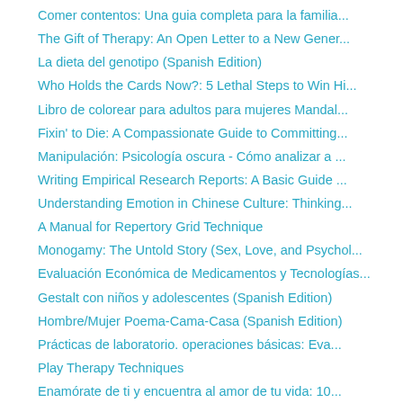Comer contentos: Una guia completa para la familia...
The Gift of Therapy: An Open Letter to a New Gener...
La dieta del genotipo (Spanish Edition)
Who Holds the Cards Now?: 5 Lethal Steps to Win Hi...
Libro de colorear para adultos para mujeres Mandal...
Fixin' to Die: A Compassionate Guide to Committing...
Manipulación: Psicología oscura - Cómo analizar a ...
Writing Empirical Research Reports: A Basic Guide ...
Understanding Emotion in Chinese Culture: Thinking...
A Manual for Repertory Grid Technique
Monogamy: The Untold Story (Sex, Love, and Psychol...
Evaluación Económica de Medicamentos y Tecnologías...
Gestalt con niños y adolescentes (Spanish Edition)
Hombre/Mujer Poema-Cama-Casa (Spanish Edition)
Prácticas de laboratorio. operaciones básicas: Eva...
Play Therapy Techniques
Enamórate de ti y encuentra al amor de tu vida: 10...
Todo lo que queda: Lo que la ciencia forense nos e...